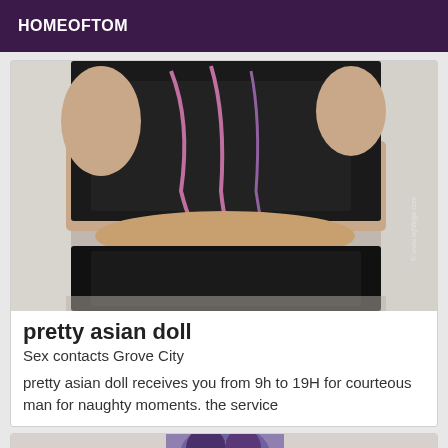HOMEOFTOM
[Figure (photo): Person wearing black lace lingerie top and black shorts, photo with watermark]
pretty asian doll
Sex contacts Grove City
pretty asian doll receives you from 9h to 19H for courteous man for naughty moments. the service
[Figure (photo): Partial view of second listing card with photo visible at bottom]